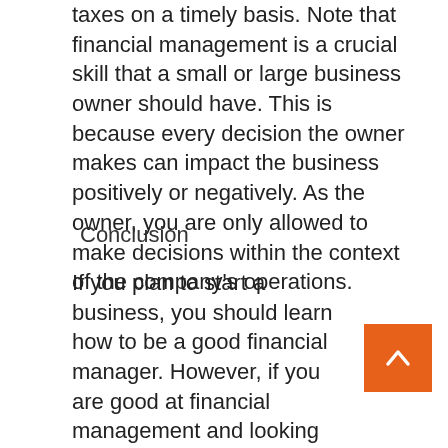taxes on a timely basis. Note that financial management is a crucial skill that a small or large business owner should have. This is because every decision the owner makes can impact the business positively or negatively. As the owner, you are only allowed to make decisions within the context of the company's operations.
Conclusion
If you plan to start a business, you should learn how to be a good financial manager. However, if you are good at financial management and looking for loan capital with low interest to start or support